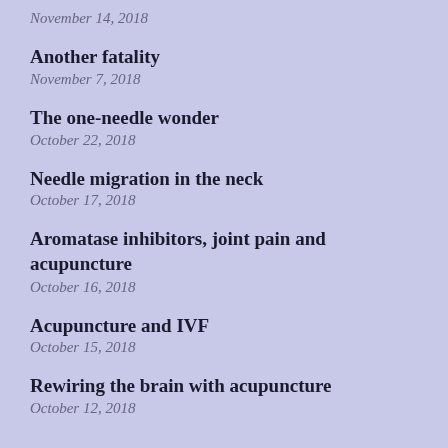November 14, 2018
Another fatality
November 7, 2018
The one-needle wonder
October 22, 2018
Needle migration in the neck
October 17, 2018
Aromatase inhibitors, joint pain and acupuncture
October 16, 2018
Acupuncture and IVF
October 15, 2018
Rewiring the brain with acupuncture
October 12, 2018